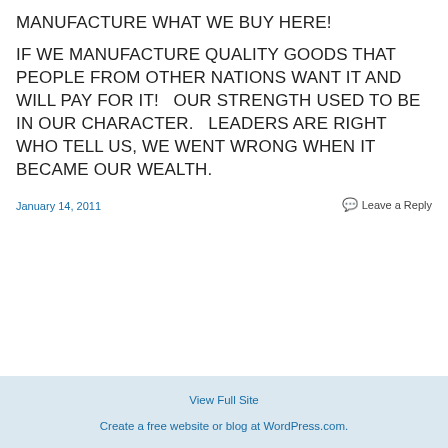MANUFACTURE WHAT WE BUY HERE!
IF WE MANUFACTURE QUALITY GOODS THAT PEOPLE FROM OTHER NATIONS WANT IT AND WILL PAY FOR IT!   OUR STRENGTH USED TO BE IN OUR CHARACTER.   LEADERS ARE RIGHT WHO TELL US, WE WENT WRONG WHEN IT BECAME OUR WEALTH.
January 14, 2011
Leave a Reply
View Full Site
Create a free website or blog at WordPress.com.